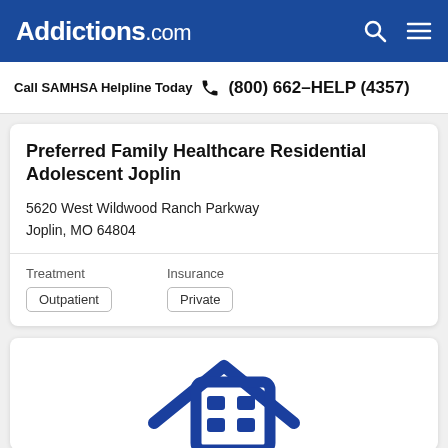Addictions.com
Call SAMHSA Helpline Today (800) 662-HELP (4357)
Preferred Family Healthcare Residential Adolescent Joplin
5620 West Wildwood Ranch Parkway
Joplin, MO 64804
Treatment
Outpatient
Insurance
Private
[Figure (illustration): Blue house/building icon representing a residential treatment facility]